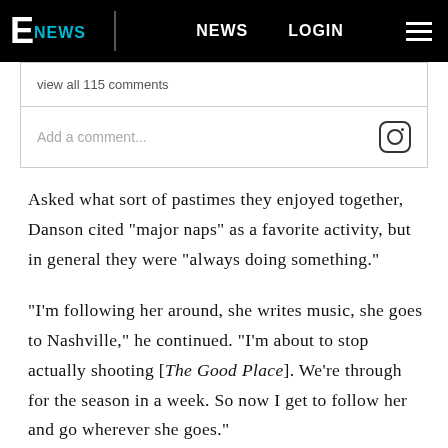E NEWS   NEWS   LOGIN
view all 115 comments
Add a comment...
Asked what sort of pastimes they enjoyed together, Danson cited "major naps" as a favorite activity, but in general they were "always doing something."
"I'm following her around, she writes music, she goes to Nashville," he continued. "I'm about to stop actually shooting [The Good Place]. We're through for the season in a week. So now I get to follow her and go wherever she goes."